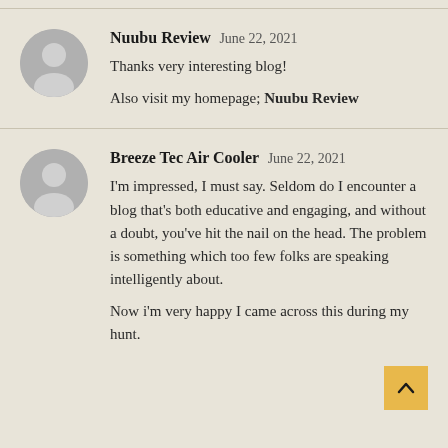Nuubu Review June 22, 2021
Thanks very interesting blog!

Also visit my homepage; Nuubu Review
Breeze Tec Air Cooler June 22, 2021
I'm impressed, I must say. Seldom do I encounter a blog that's both educative and engaging, and without a doubt, you've hit the nail on the head. The problem is something which too few folks are speaking intelligently about.

Now i'm very happy I came across this during my hunt.